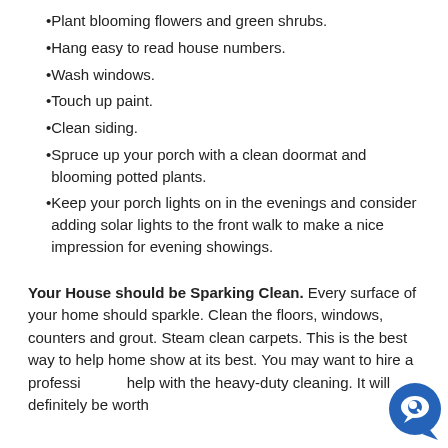Plant blooming flowers and green shrubs.
Hang easy to read house numbers.
Wash windows.
Touch up paint.
Clean siding.
Spruce up your porch with a clean doormat and blooming potted plants.
Keep your porch lights on in the evenings and consider adding solar lights to the front walk to make a nice impression for evening showings.
Your House should be Sparking Clean. Every surface of your home should sparkle. Clean the floors, windows, counters and grout. Steam clean carpets. This is the best way to help home show at its best. You may want to hire a professional help with the heavy-duty cleaning. It will definitely be worth